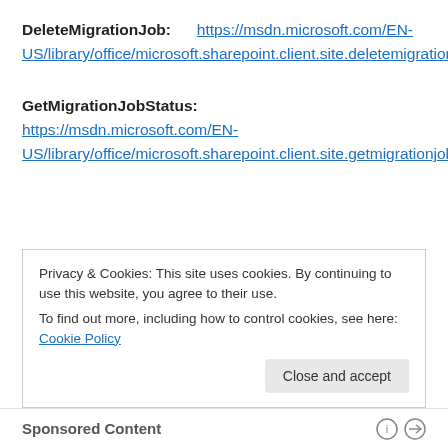DeleteMigrationJob: https://msdn.microsoft.com/EN-US/library/office/microsoft.sharepoint.client.site.deletemigrationjob.aspx
GetMigrationJobStatus: https://msdn.microsoft.com/EN-US/library/office/microsoft.sharepoint.client.site.getmigrationjobstatus.aspx
Privacy & Cookies: This site uses cookies. By continuing to use this website, you agree to their use. To find out more, including how to control cookies, see here: Cookie Policy
Close and accept
Sponsored Content